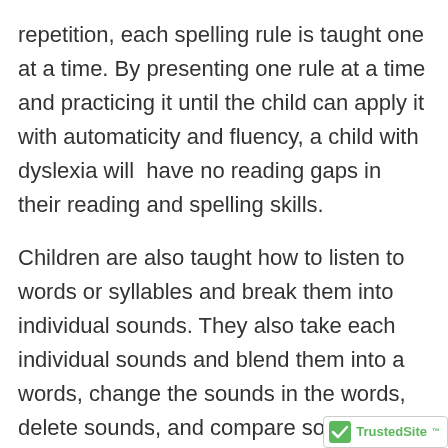repetition, each spelling rule is taught one at a time. By presenting one rule at a time and practicing it until the child can apply it with automaticity and fluency, a child with dyslexia will have no reading gaps in their reading and spelling skills.
Children are also taught how to listen to words or syllables and break them into individual sounds. They also take each individual sounds and blend them into a words, change the sounds in the words, delete sounds, and compare sounds. For example, “…in the word steak, what is the first sound you hear? What is the vowel combination you hear? What is the last sound you hear? Children are also taught to recognize and manipulate these